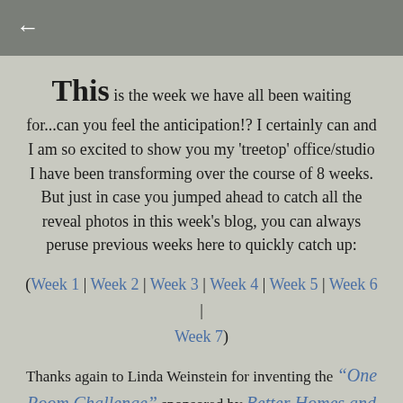←
This is the week we have all been waiting for...can you feel the anticipation!? I certainly can and I am so excited to show you my 'treetop' office/studio I have been transforming over the course of 8 weeks. But just in case you jumped ahead to catch all the reveal photos in this week's blog, you can always peruse previous weeks here to quickly catch up:
(Week 1 | Week 2 | Week 3 | Week 4 | Week 5 | Week 6 | Week 7)
Thanks again to Linda Weinstein for inventing the "One Room Challenge" sponsored by Better Homes and Gardens. It has been an incredible journey!!
What started out as an unfinished space when the house